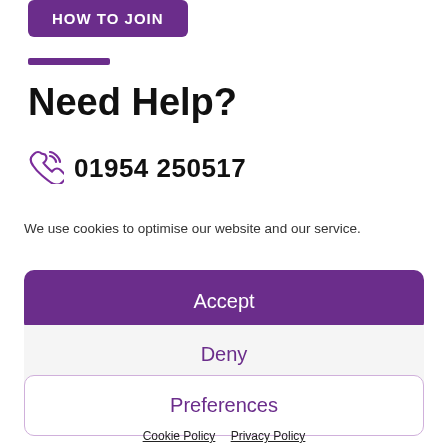[Figure (other): Purple rounded button with white text 'HOW TO JOIN']
[Figure (other): Purple decorative horizontal bar/divider]
Need Help?
01954 250517
We use cookies to optimise our website and our service.
Accept
Deny
Preferences
Cookie Policy   Privacy Policy